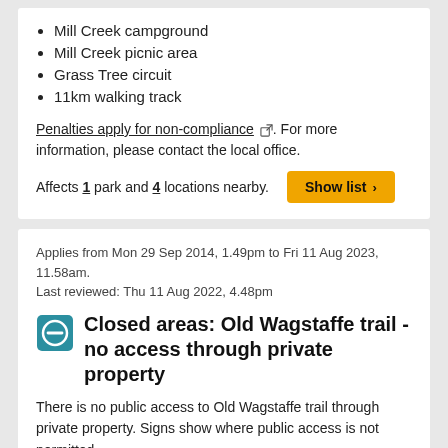Mill Creek campground
Mill Creek picnic area
Grass Tree circuit
11km walking track
Penalties apply for non-compliance [external link]. For more information, please contact the local office.
Affects 1 park and 4 locations nearby.
Applies from Mon 29 Sep 2014, 1.49pm to Fri 11 Aug 2023, 11.58am. Last reviewed: Thu 11 Aug 2022, 4.48pm
Closed areas: Old Wagstaffe trail - no access through private property
There is no public access to Old Wagstaffe trail through private property. Signs show where public access is not permitted.
Penalties apply for non-compliance [external link]. For more information, please contact the NPWS Hawkesbury North area office on 02 4320 4200 or visit the NSW National Parks safety page for park safety guidelines.
Affects 1 park nearby.